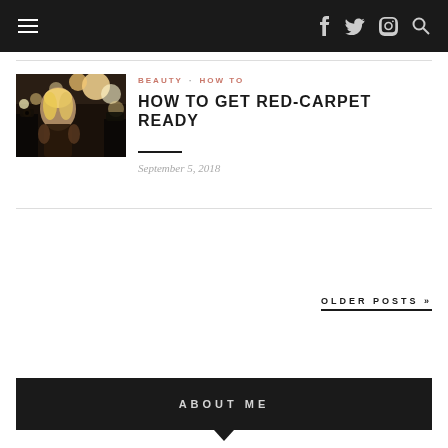Navigation bar with hamburger menu and social icons (f, Twitter, Instagram, Search)
BEAUTY  HOW TO
HOW TO GET RED-CARPET READY
September 5, 2018
[Figure (photo): Photo of a blonde woman on a red carpet surrounded by photographers with bright lights]
OLDER POSTS »
ABOUT ME